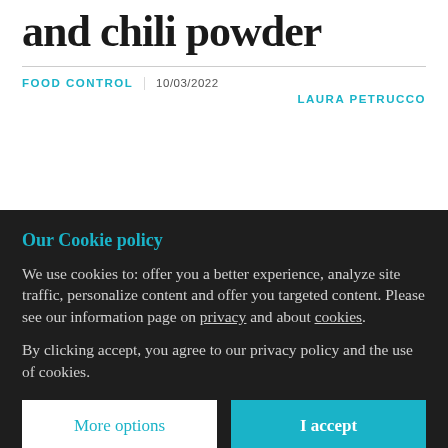and chili powder
FOOD CONTROL | 10/03/2022
LAURA PETRUCCO
Our Cookie policy
We use cookies to: offer you a better experience, analyze site traffic, personalize content and offer you targeted content. Please see our information page on privacy and about cookies.
By clicking accept, you agree to our privacy policy and the use of cookies.
More options
I accept